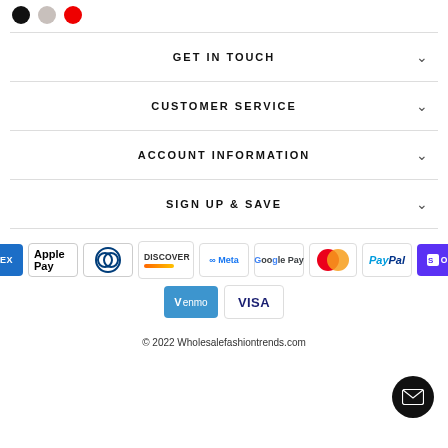[Figure (illustration): Three color swatches: black circle, gray circle, red circle]
GET IN TOUCH
CUSTOMER SERVICE
ACCOUNT INFORMATION
SIGN UP & SAVE
[Figure (infographic): Payment method icons: American Express, Apple Pay, Diners Club, Discover, Meta Pay, Google Pay, Mastercard, PayPal, Shop Pay, Venmo, Visa]
© 2022 Wholesalefashiontrends.com